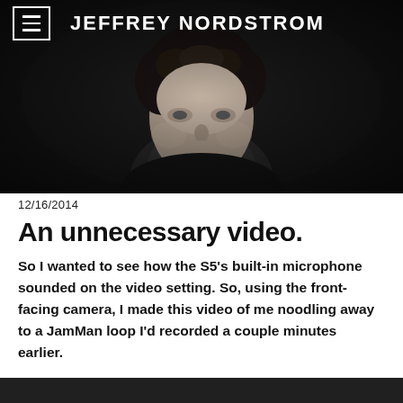[Figure (photo): Black and white portrait photograph of a man with curly hair against a dark background, serving as the website header image]
JEFFREY NORDSTROM
12/16/2014
An unnecessary video.
So I wanted to see how the S5's built-in microphone sounded on the video setting. So, using the front-facing camera, I made this video of me noodling away to a JamMan loop I'd recorded a couple minutes earlier.
[Figure (photo): Partial view of a dark video thumbnail at the bottom of the page]